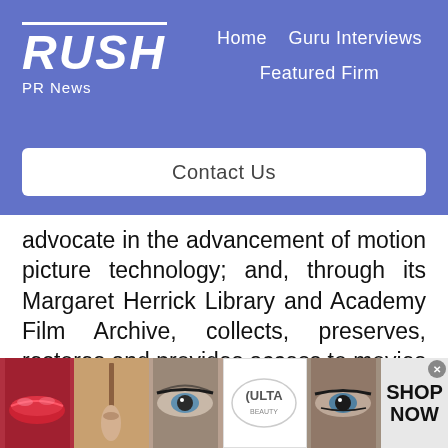RUSH PR News — Home | Guru Interviews | Featured Firm | Contact Us
advocate in the advancement of motion picture technology; and, through its Margaret Herrick Library and Academy Film Archive, collects, preserves, restores and provides access to movies and items related to their history. Through these and other activities the Academy serves
[Figure (photo): Advertisement banner with beauty/makeup images including lips, makeup brush, eye closeups, ULTA Beauty logo, and SHOP NOW call to action]